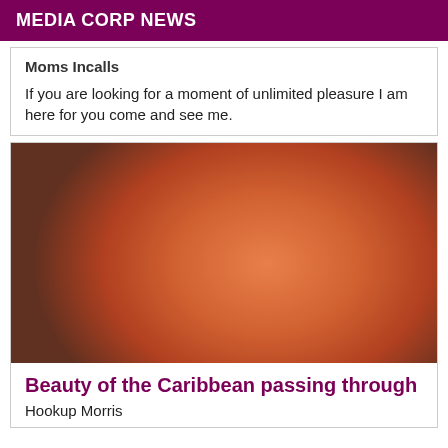MEDIA CORP NEWS
Moms Incalls
If you are looking for a moment of unlimited pleasure I am here for you come and see me.
[Figure (photo): A close-up photo showing a person from behind wearing dark underwear, with warm orange-toned lighting.]
Beauty of the Caribbean passing through
Hookup Morris